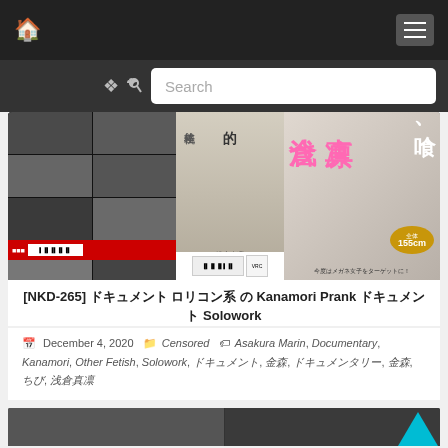Navigation bar with home icon and menu button
Search
[Figure (screenshot): DVD cover collage image showing Japanese adult video covers with Japanese text and a female figure]
[NKD-265] ドキュメント ロリコン系 の Kanamori Prank ドキュメント Solowork
December 4, 2020  Censored  Asakura Marin, Documentary, Kanamori, Other Fetish, Solowork, ソロワーク, 金森, ドキュメンタリー, 金森, ちび, 浅倉真凛
[Figure (screenshot): Bottom card preview showing partial DVD cover thumbnails]